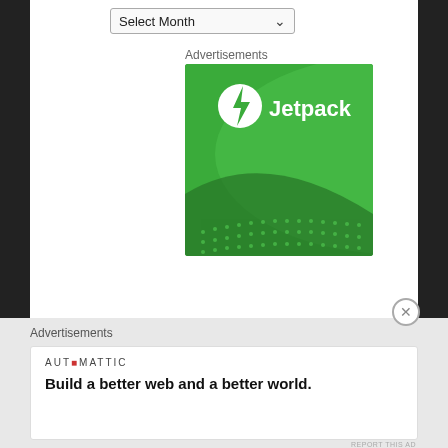[Figure (screenshot): Select Month dropdown selector with chevron arrow]
Advertisements
[Figure (logo): Jetpack advertisement banner with green gradient background, Jetpack logo (white circle with lightning bolt) and 'Jetpack' text in white, decorative swooping lighter green arc and dot pattern at bottom]
Advertisements
[Figure (screenshot): Automattic advertisement: 'AUTOMATTIC' in small spaced caps, tagline 'Build a better web and a better world.' in bold]
REPORT THIS AD